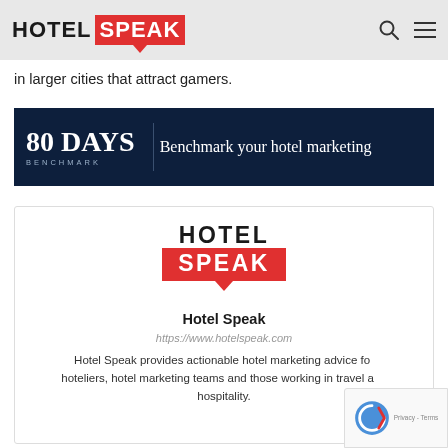HOTEL SPEAK
in larger cities that attract gamers.
[Figure (illustration): 80 DAYS BENCHMARK banner ad with dark navy background. Left side shows '80 DAYS' in large white serif font with 'BENCHMARK' in small spaced letters below. Right side tagline: 'Benchmark your hotel marketing']
[Figure (logo): Hotel Speak logo with HOTEL in black bold uppercase and SPEAK in white bold uppercase on red background with red downward arrow/speech bubble tail beneath]
Hotel Speak
https://www.hotelspeak.com
Hotel Speak provides actionable hotel marketing advice for hoteliers, hotel marketing teams and those working in travel and hospitality.